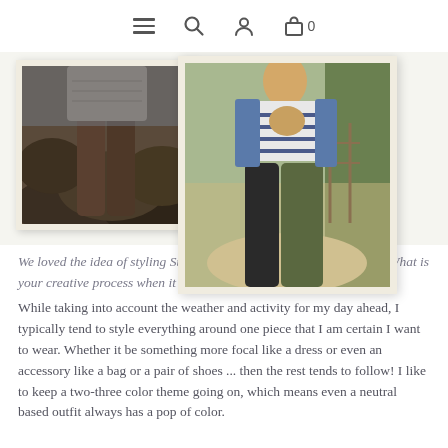Navigation icons: hamburger menu, search, user account, shopping bag (0)
[Figure (photo): Two polaroid-style fashion photos overlapping: left photo shows a person from waist down wearing brown trousers and a knit top at a rocky outdoor location; right photo shows a person from waist down wearing black trousers and an olive/army green wide-leg pant with a striped top, outdoors.]
We loved the idea of styling Stone Wool knits in your everyday style. What is your creative process when it comes to styling? While taking into account the weather and activity for my day ahead, I typically tend to style everything around one piece that I am certain I want to wear. Whether it be something more focal like a dress or even an accessory like a bag or a pair of shoes ... then the rest tends to follow! I like to keep a two-three color theme going on, which means even a neutral based outfit always has a pop of color.